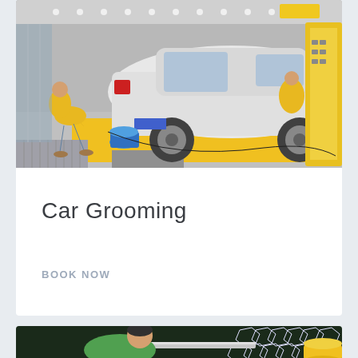[Figure (photo): Car washing scene at a professional car wash facility. Worker in yellow jacket bending over cleaning a white SUV. Yellow floor mats, blue bucket, hose. Yellow automated car wash equipment visible in background.]
Car Grooming
BOOK NOW
[Figure (photo): Person in green shirt working on car window detail/tinting, with hexagonal LED lights reflected on car surface and yellow foam roller visible.]